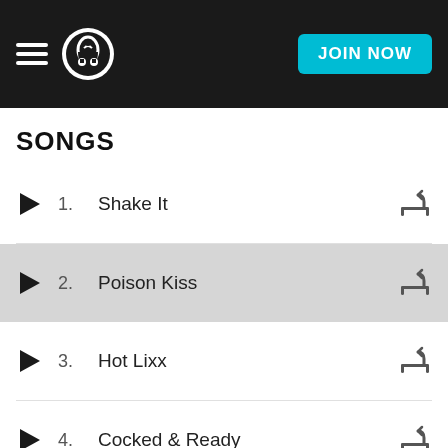Napster header with hamburger menu, logo, and JOIN NOW button
SONGS
1. Shake It
2. Poison Kiss
3. Hot Lixx
4. Cocked & Ready